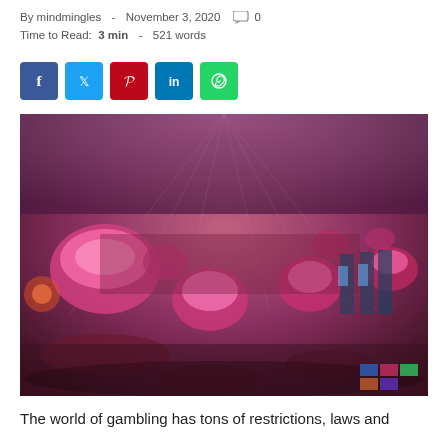By mindmingles - November 3, 2020  0
Time to Read: 3 min - 521 words
[Figure (other): Social media share buttons: Facebook, Twitter, Pinterest, LinkedIn, WhatsApp]
[Figure (photo): Interior of a casino floor with pink/purple glowing dome lamps, slot machines, and gaming tables viewed from a wide-angle perspective]
The world of gambling has tons of restrictions, laws and